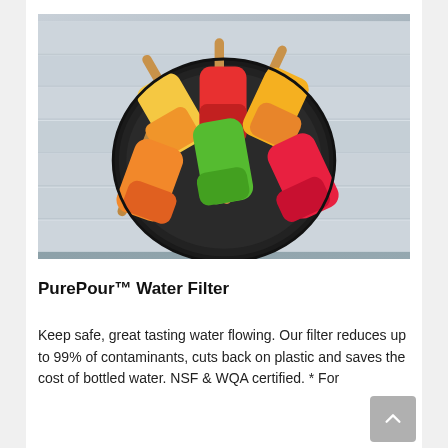[Figure (photo): Overhead view of colorful fruit popsicles (orange, red, green, yellow) arranged in a black bowl on a white wood surface background]
PurePour™ Water Filter
Keep safe, great tasting water flowing. Our filter reduces up to 99% of contaminants, cuts back on plastic and saves the cost of bottled water. NSF & WQA certified. * For